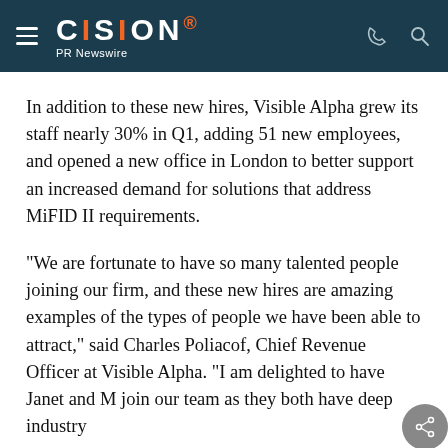CISION PR Newswire
In addition to these new hires, Visible Alpha grew its staff nearly 30% in Q1, adding 51 new employees, and opened a new office in London to better support an increased demand for solutions that address MiFID II requirements.
"We are fortunate to have so many talented people joining our firm, and these new hires are amazing examples of the types of people we have been able to attract," said Charles Poliacof, Chief Revenue Officer at Visible Alpha. "I am delighted to have Janet and M join our team as they both have deep industry